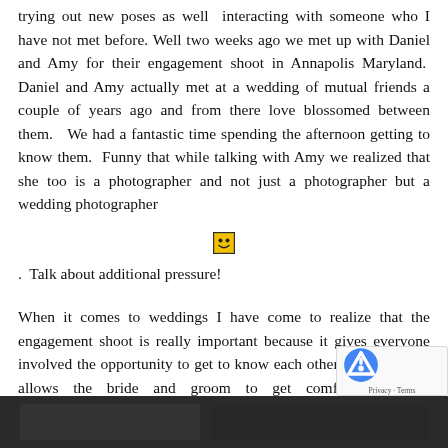trying out new poses as well  interacting with someone who I have not met before. Well two weeks ago we met up with Daniel and Amy for their engagement shoot in Annapolis Maryland.  Daniel and Amy actually met at a wedding of mutual friends a couple of years ago and from there love blossomed between them.   We had a fantastic time spending the afternoon getting to know them.  Funny that while talking with Amy we realized that she too is a photographer and not just a photographer but a wedding photographer
[Figure (illustration): Smiley face emoji icon (yellow face with smile)]
.  Talk about additional pressure!
When it comes to weddings I have come to realize that the engagement shoot is really important because it gives everyone involved the opportunity to get to know each other better.  It also allows the bride and groom to get comfortable being photographed.  There is also the added benefit of using these  as part of your save the dates or just to keep as a reminder of this amazing time of your life together.    Marcus and I wish that you have a life time and happiness and we are looking forward to your big day i
[Figure (photo): Black and white photo strip at the bottom of the page]